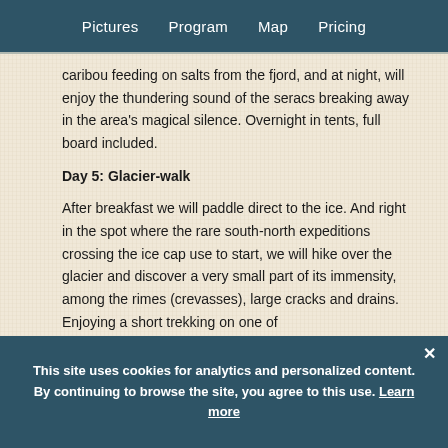Pictures   Program   Map   Pricing
caribou feeding on salts from the fjord, and at night, will enjoy the thundering sound of the seracs breaking away in the area's magical silence. Overnight in tents, full board included.
Day 5: Glacier-walk
After breakfast we will paddle direct to the ice. And right in the spot where the rare south-north expeditions crossing the ice cap use to start, we will hike over the glacier and discover a very small part of its immensity, among the rimes (crevasses), large cracks and drains. Enjoying a short trekking on one of
This site uses cookies for analytics and personalized content. By continuing to browse the site, you agree to this use. Learn more